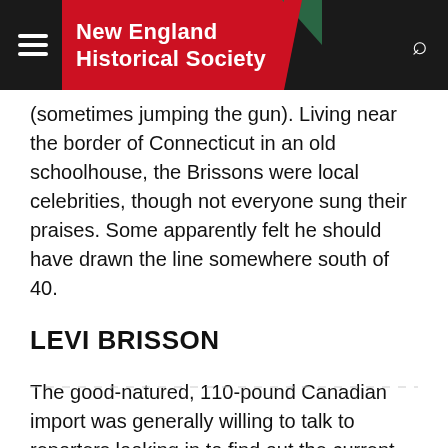New England Historical Society
(sometimes jumping the gun). Living near the border of Connecticut in an old schoolhouse, the Brissons were local celebrities, though not everyone sung their praises. Some apparently felt he should have drawn the line somewhere south of 40.
LEVI BRISSON
The good-natured, 110-pound Canadian import was generally willing to talk to reporters looking in to find out the current tally of children, though getting the exact count is difficult.